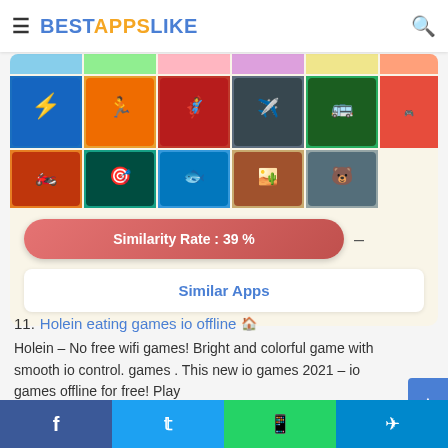BESTAPPSLIKE
[Figure (screenshot): Grid of mobile game app icons/thumbnails in two rows]
Similarity Rate : 39 %
Similar Apps
11. Holein eating games io offline
Holein – No free wifi games! Bright and colorful game with smooth io control. games . This new io games 2021 – io games offline for free! Play
Facebook Twitter WhatsApp Telegram